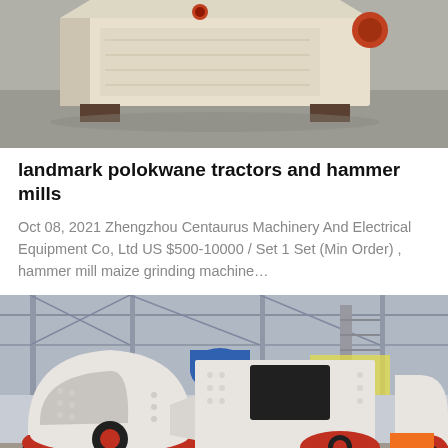[Figure (photo): Industrial machinery - beige/cream colored hammer mill or crusher machine on concrete floor, photographed from angle showing its boxy top profile]
landmark polokwane tractors and hammer mills
Oct 08, 2021 Zhengzhou Centaurus Machinery And Electrical Equipment Co, Ltd US $500-10000 / Set 1 Set (Min Order) , hammer mill maize grinding machine…
[Figure (photo): Industrial factory interior with two large white and red impact crusher/hammer mill machines on wheeled bases, industrial building structure visible in background with blue equipment and Chinese signage]